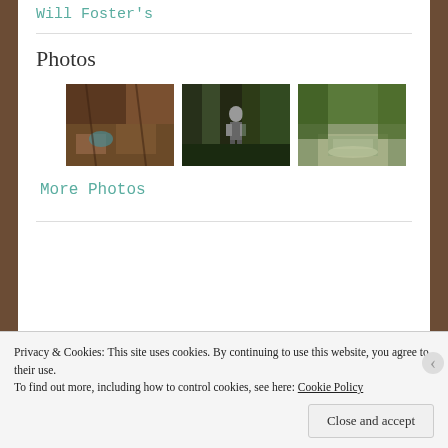Will Foster's
Photos
[Figure (photo): Three outdoor/nature thumbnail photos side by side: first shows forest floor debris, second shows a person standing between large redwood trees giving thumbs up, third shows a forest trail/creek scene.]
More Photos
Privacy & Cookies: This site uses cookies. By continuing to use this website, you agree to their use.
To find out more, including how to control cookies, see here: Cookie Policy
Close and accept